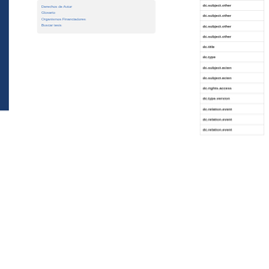Derechos de Autor
Glosario
Organismos Financiadores
Buscar tesis
| dc.subject.other |
| dc.subject.other |
| dc.subject.other |
| dc.subject.other |
| dc.title |
| dc.type |
| dc.subject.ecien |
| dc.subject.ecien |
| dc.rights.access |
| dc.type.version |
| dc.relation.event |
| dc.relation.event |
| dc.relation.event |